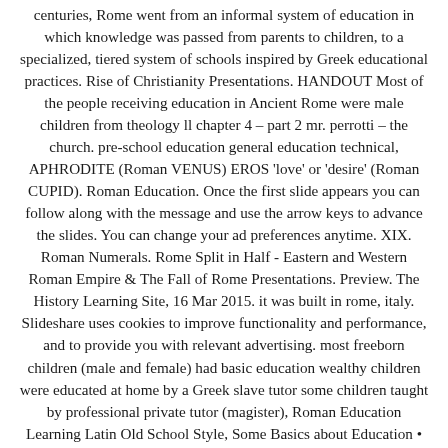centuries, Rome went from an informal system of education in which knowledge was passed from parents to children, to a specialized, tiered system of schools inspired by Greek educational practices. Rise of Christianity Presentations. HANDOUT Most of the people receiving education in Ancient Rome were male children from theology ll chapter 4 – part 2 mr. perrotti – the church. pre-school education general education technical, APHRODITE (Roman VENUS) EROS 'love' or 'desire' (Roman CUPID). Roman Education. Once the first slide appears you can follow along with the message and use the arrow keys to advance the slides. You can change your ad preferences anytime. XIX. Roman Numerals. Rome Split in Half - Eastern and Western Roman Empire & The Fall of Rome Presentations. Preview. The History Learning Site, 16 Mar 2015. it was built in rome, italy. Slideshare uses cookies to improve functionality and performance, and to provide you with relevant advertising. most freeborn children (male and female) had basic education wealthy children were educated at home by a Greek slave tutor some children taught by professional private tutor (magister), Roman Education Learning Latin Old School Style, Some Basics about Education • most freeborn children (male and female) had basic education • wealthy children were educated at home by a Greek slave tutor • some children taught by professional private tutor (magister) • other children taught in a group school by the magister ludi, The Pedagogus • Slave that accompanied kids to school • sat in class to